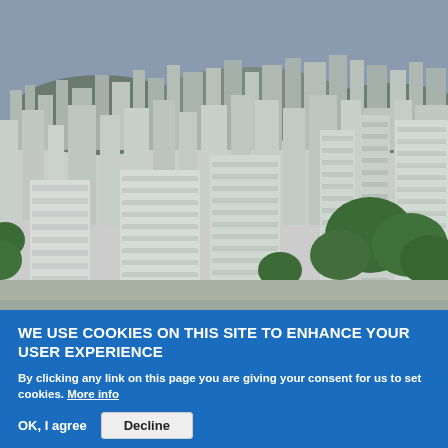[Figure (photo): Aerial view of a dense urban cityscape with mid-rise and high-rise buildings, green trees in the foreground and right side, and hills/mountains visible in the background under a grey-blue sky.]
WE USE COOKIES ON THIS SITE TO ENHANCE YOUR USER EXPERIENCE
By clicking any link on this page you are giving your consent for us to set cookies. More info
OK, I agree   Decline